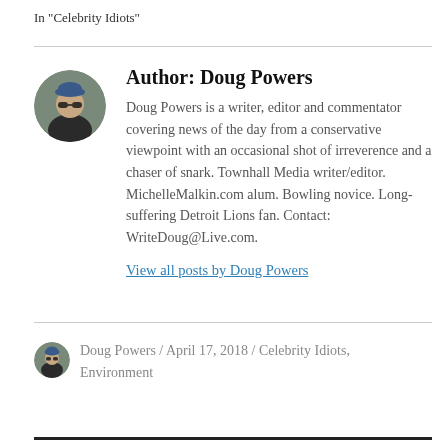In "Celebrity Idiots"
[Figure (photo): Circular avatar photo of Doug Powers wearing sunglasses and a cap]
Author: Doug Powers
Doug Powers is a writer, editor and commentator covering news of the day from a conservative viewpoint with an occasional shot of irreverence and a chaser of snark. Townhall Media writer/editor. MichelleMalkin.com alum. Bowling novice. Long-suffering Detroit Lions fan. Contact: WriteDoug@Live.com.
View all posts by Doug Powers
[Figure (photo): Small circular avatar photo of Doug Powers]
Doug Powers / April 17, 2018 / Celebrity Idiots, Environment